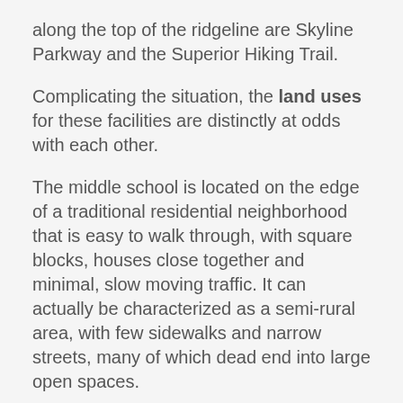along the top of the ridgeline are Skyline Parkway and the Superior Hiking Trail.
Complicating the situation, the land uses for these facilities are distinctly at odds with each other.
The middle school is located on the edge of a traditional residential neighborhood that is easy to walk through, with square blocks, houses close together and minimal, slow moving traffic. It can actually be characterized as a semi-rural area, with few sidewalks and narrow streets, many of which dead end into large open spaces.
The Clyde Iron complex, in contrast, which also houses a Boys and Girls Club, indoor athletic fields, year-round ice rink, and in the future a nearby Duluth Children's Museum—is located in an established industrial area, where a significant level of pedestrian traffic was not anticipated.
Last but not least is the huge barrier of the railroad tracks